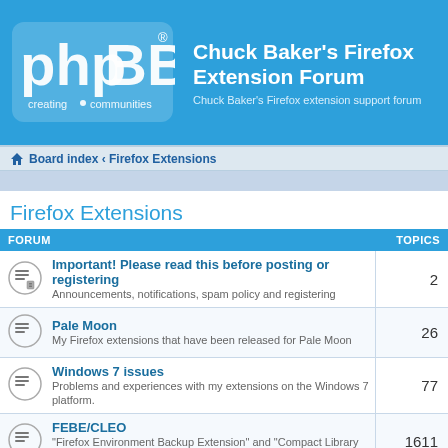Chuck Baker's Firefox Extension Forum
Chuck Baker's Firefox extension support forum
Board index ‹ Firefox Extensions
Firefox Extensions
| FORUM | TOPICS |
| --- | --- |
| Important! Please read this before posting or registering — Announcements, notifications, spam policy and registering | 2 |
| Pale Moon — My Firefox extensions that have been released for Pale Moon | 26 |
| Windows 7 issues — Problems and experiences with my extensions on the Windows 7 platform. | 77 |
| FEBE/CLEO — "Firefox Environment Backup Extension" and "Compact Library Extension Organizer" discussion and bug reporting. | 1611 |
| Pagemark | 1 |